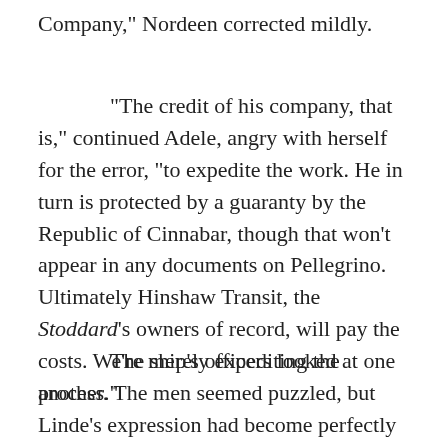Company," Nordeen corrected mildly.
"The credit of his company, that is," continued Adele, angry with herself for the error, "to expedite the work. He in turn is protected by a guaranty by the Republic of Cinnabar, though that won't appear in any documents on Pellegrino. Ultimately Hinshaw Transit, the Stoddard's owners of record, will pay the costs. We're merely expediting the process."
The ship's officers looked at one another. The men seemed puzzled, but Linde's expression had become perfectly blank. She